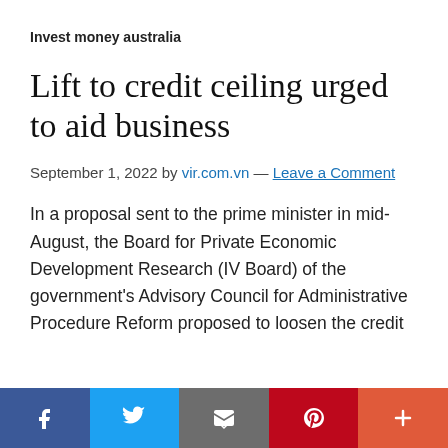Invest money australia
Lift to credit ceiling urged to aid business
September 1, 2022 by vir.com.vn — Leave a Comment
In a proposal sent to the prime minister in mid-August, the Board for Private Economic Development Research (IV Board) of the government's Advisory Council for Administrative Procedure Reform proposed to loosen the credit